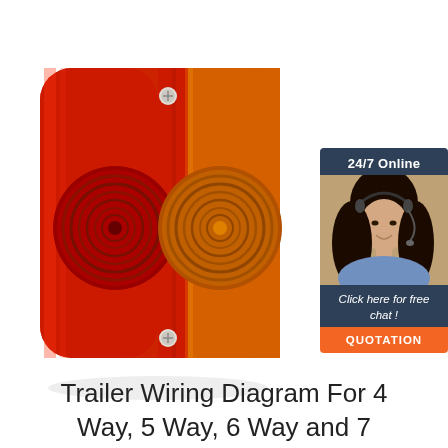[Figure (photo): A trailer tail light assembly showing two circular lens units in a red/amber housing with two mounting screws, one red stop/tail light and one amber turn signal light]
[Figure (infographic): 24/7 Online chat support widget showing a smiling woman with a headset, text 'Click here for free chat!' and an orange QUOTATION button]
Trailer Wiring Diagram For 4 Way, 5 Way, 6 Way and 7